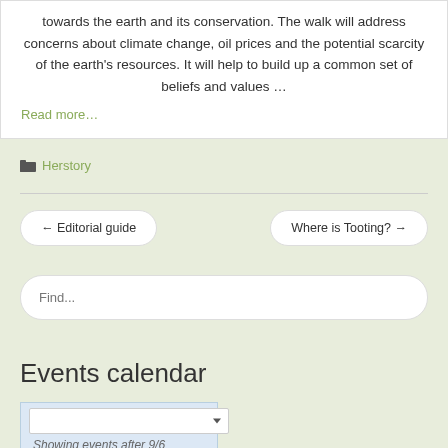towards the earth and its conservation. The walk will address concerns about climate change, oil prices and the potential scarcity of the earth's resources. It will help to build up a common set of beliefs and values …
Read more…
Herstory
← Editorial guide
Where is Tooting? →
Find...
Events calendar
Showing events after 9/6